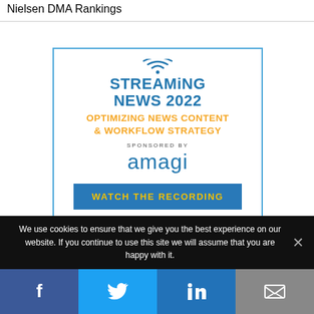Nielsen DMA Rankings
[Figure (infographic): Streaming News 2022 advertisement banner: 'OPTIMIZING NEWS CONTENT & WORKFLOW STRATEGY', sponsored by amagi, with a 'WATCH THE RECORDING' button]
We use cookies to ensure that we give you the best experience on our website. If you continue to use this site we will assume that you are happy with it.
[Figure (infographic): Social media share bar with Facebook, Twitter, LinkedIn, and email icons]